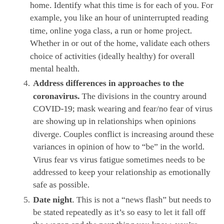home.  Identify what this time is for each of you.  For example, you like an hour of uninterrupted reading time, online yoga class, a run or home project.  Whether in or out of the home, validate each others choice of activities (ideally healthy) for overall mental health.
4. Address differences in approaches to the coronavirus.  The divisions in the country around COVID-19; mask wearing and fear/no fear of virus are showing up in relationships when opinions diverge.  Couples conflict is increasing around these variances in opinion of how to "be" in the world.  Virus fear vs virus fatigue sometimes needs to be addressed to keep your relationship as emotionally safe as possible.
5. Date night.  This is not a "news flash" but needs to be stated repeatedly as it's so easy to let it fall off the wagon and the next thing you know, you're both feeling totally disconnected.  You don't literally need a "date night" and obviously with COVID, this is a bit limited for activities...